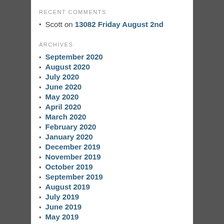RECENT COMMENTS
Scott on 13082 Friday August 2nd
ARCHIVES
September 2020
August 2020
July 2020
June 2020
May 2020
April 2020
March 2020
February 2020
January 2020
December 2019
November 2019
October 2019
September 2019
August 2019
July 2019
June 2019
May 2019